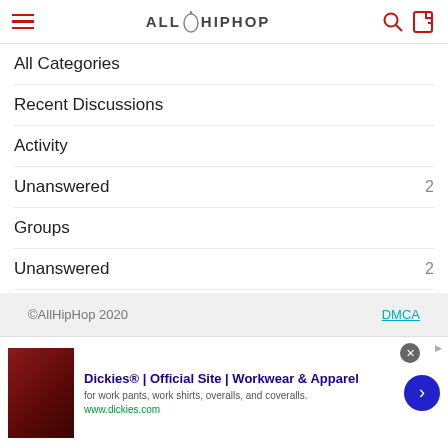ALLHIPHOP
All Categories
Recent Discussions
Activity
Unanswered  2
Groups
Unanswered  2
Best Of
©AllHipHop 2020   DMCA
[Figure (other): Advertisement banner for Dickies® | Official Site | Workwear & Apparel. Shows text: for work pants, work shirts, overalls, and coveralls. www.dickies.com. Features a product image, close button, and navigation arrow.]